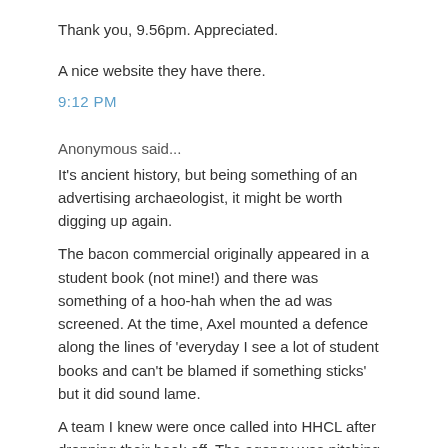Thank you, 9.56pm. Appreciated.
A nice website they have there.
9:12 PM
Anonymous said...
It’s ancient history, but being something of an advertising archaeologist, it might be worth digging up again.
The bacon commercial originally appeared in a student book (not mine!) and there was something of a hoo-hah when the ad was screened. At the time, Axel mounted a defence along the lines of ‘everyday I see a lot of student books and can’t be blamed if something sticks’ but it did sound lame.
A team I knew were once called into HHCL after dropping their book off. The agency was pitching for AA at the time and told the hopefuls that something in their portfolio was very close to the strategy the agency was working on.
Of course, the team might have said ‘hire us then, because we